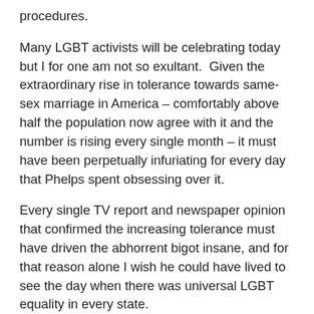procedures.
Many LGBT activists will be celebrating today but I for one am not so exultant.  Given the extraordinary rise in tolerance towards same-sex marriage in America – comfortably above half the population now agree with it and the number is rising every single month – it must have been perpetually infuriating for every day that Phelps spent obsessing over it.
Every single TV report and newspaper opinion that confirmed the increasing tolerance must have driven the abhorrent bigot insane, and for that reason alone I wish he could have lived to see the day when there was universal LGBT equality in every state.
I just hoped that before he died, Phelps and his followers had realised how much good they did for LGBT equality. Their pitiful, and frankly cammy, charade surely